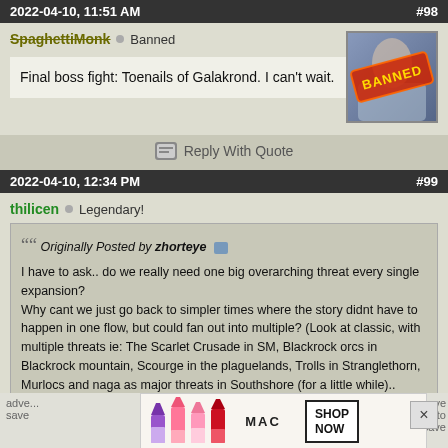2022-04-10, 11:51 AM   #98
SpaghettiMonk  Banned
Final boss fight: Toenails of Galakrond. I can't wait.
Reply With Quote
2022-04-10, 12:34 PM   #99
thilicen  Legendary!
Originally Posted by zhorteye
I have to ask.. do we really need one big overarching threat every single expansion?
Why cant we just go back to simpler times where the story didnt have to happen in one flow, but could fan out into multiple? (Look at classic, with multiple threats ie: The Scarlet Crusade in SM, Blackrock orcs in Blackrock mountain, Scourge in the plaguelands, Trolls in Stranglethorn, Murlocs and naga as major threats in Southshore (for a little while).. Does it really have to all be 1 big enemy that we have to fight? Why cant we just go back to being adve... have to save
[Figure (photo): MAC cosmetics advertisement showing lipsticks in purple, pink and red with SHOP NOW button]